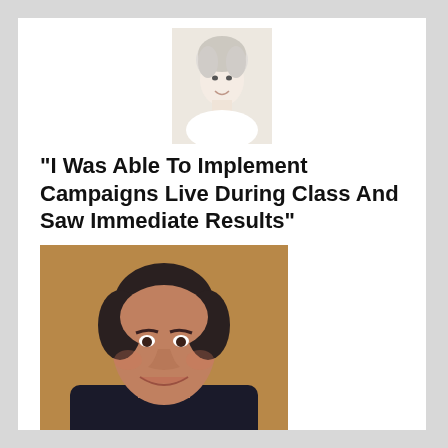[Figure (photo): Small headshot of a person with white/grey hair, light background, top-center of page]
“I Was Able To Implement Campaigns Live During Class And Saw Immediate Results”
[Figure (photo): Headshot of a middle-aged man with dark hair wearing a dark shirt, warm brown background]
“I’m so glad I made the investment in the Rapid Implementation Workshop. Getting away from the day-to-day business and focusing on my marketing has completely reinvigorated me and re-engaged me in my business. Since we